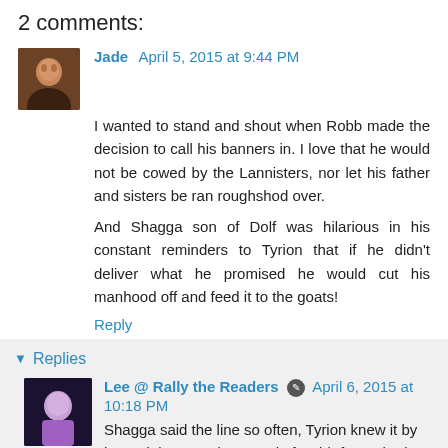2 comments:
Jade  April 5, 2015 at 9:44 PM
I wanted to stand and shout when Robb made the decision to call his banners in. I love that he would not be cowed by the Lannisters, nor let his father and sisters be ran roughshod over.

And Shagga son of Dolf was hilarious in his constant reminders to Tyrion that if he didn't deliver what he promised he would cut his manhood off and feed it to the goats!
Reply
Replies
Lee @ Rally the Readers  April 6, 2015 at 10:18 PM
Shagga said the line so often, Tyrion knew it by heart, lol. I was also proud of Robb for gathering an army to rescue his father and sisters. The